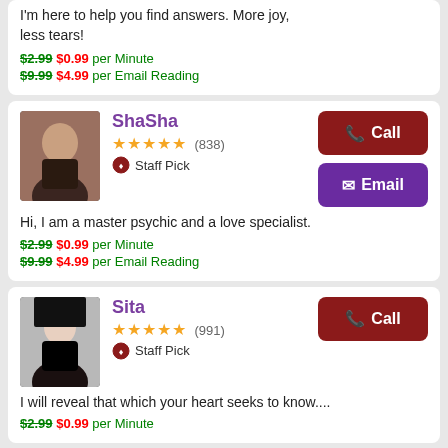I'm here to help you find answers. More joy, less tears!
$2.99 $0.99 per Minute
$9.99 $4.99 per Email Reading
ShaSha
★★★★★ (838) Staff Pick
Hi, I am a master psychic and a love specialist.
$2.99 $0.99 per Minute
$9.99 $4.99 per Email Reading
Sita
★★★★★ (991) Staff Pick
I will reveal that which your heart seeks to know....
$2.99 $0.99 per Minute
Katerena
★★★★☆ (201)